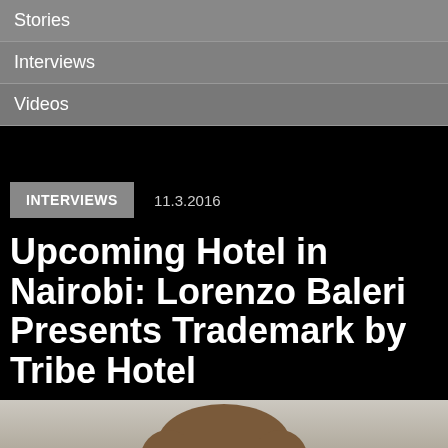Stories
Interviews
Videos
INTERVIEWS   11.3.2016
Upcoming Hotel in Nairobi: Lorenzo Baleri Presents Trademark by Tribe Hotel
[Figure (photo): Close-up portrait photo of a middle-aged man with short brown hair, facing slightly left, against a light background]